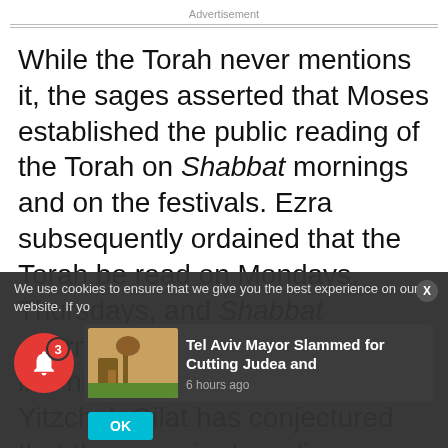Advertisement
While the Torah never mentions it, the sages asserted that Moses established the public reading of the Torah on Shabbat mornings and on the festivals. Ezra subsequently ordained that the Torah be read on Mondays, Thursdays, and Shabbat afternoons. Based on passages in Philo and in the Talmud, Prof. Yitzchak Gilat has conjectured that these ancient readings followed
We use cookies to ensure that we give you the best experience on our website. If yo
Tel Aviv Mayor Slammed for Cutting Judea and
6 hours ago